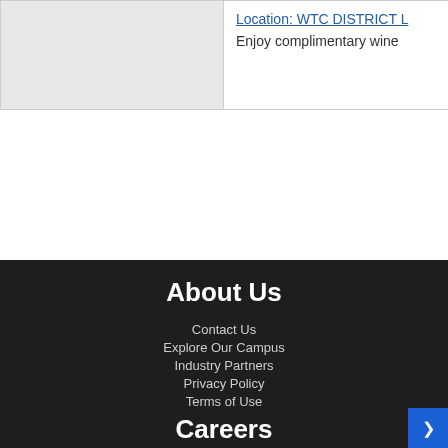|  | Location: WTC DISTRICT L
Enjoy complimentary wine |
About Us
Contact Us
Explore Our Campus
Industry Partners
Privacy Policy
Terms of Use
Careers
Market Center Careers